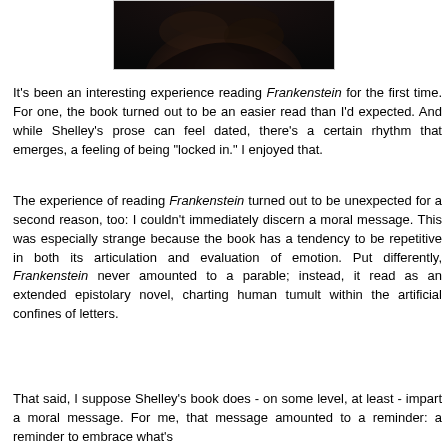[Figure (photo): Partial photo of a person, cropped showing top of head/hair against dark background]
It's been an interesting experience reading Frankenstein for the first time. For one, the book turned out to be an easier read than I'd expected. And while Shelley's prose can feel dated, there's a certain rhythm that emerges, a feeling of being "locked in." I enjoyed that.
The experience of reading Frankenstein turned out to be unexpected for a second reason, too: I couldn't immediately discern a moral message. This was especially strange because the book has a tendency to be repetitive in both its articulation and evaluation of emotion. Put differently, Frankenstein never amounted to a parable; instead, it read as an extended epistolary novel, charting human tumult within the artificial confines of letters.
That said, I suppose Shelley's book does - on some level, at least - impart a moral message. For me, that message amounted to a reminder: a reminder to embrace what's